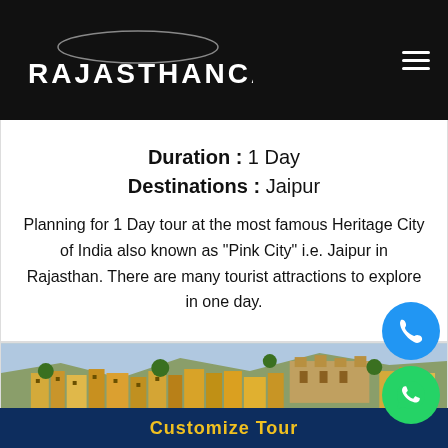RajasthanCaB
Duration : 1 Day
Destinations : Jaipur
Planning for 1 Day tour at the most famous Heritage City of India also known as “Pink City” i.e. Jaipur in Rajasthan. There are many tourist attractions to explore in one day.
[Figure (photo): Photo of Jaipur city showing colorful heritage buildings on a hillside]
Customize Tour